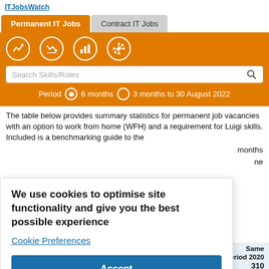ITJobsWatch
Permanent IT Jobs | Contract IT Jobs
[Figure (screenshot): Orange toolbar with icons for charts and search, a search bar for Skills/Roles, and period selector showing 6 months selected and 3 months to 30 August 2022]
The table below provides summary statistics for permanent job vacancies with an option to work from home (WFH) and a requirement for Luigi skills. Included is a benchmarking guide to the months ne
[Figure (screenshot): Cookie consent dialog: 'We use cookies to optimise site functionality and give you the best possible experience' with Cookie Preferences link and Accept button]
| Rank |  | 701 | 622 | Same period 2020 | 310 |
| --- | --- | --- | --- | --- | --- |